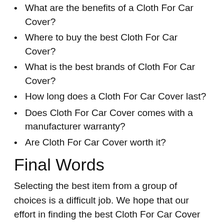What are the benefits of a Cloth For Car Cover?
Where to buy the best Cloth For Car Cover?
What is the best brands of Cloth For Car Cover?
How long does a Cloth For Car Cover last?
Does Cloth For Car Cover comes with a manufacturer warranty?
Are Cloth For Car Cover worth it?
Final Words
Selecting the best item from a group of choices is a difficult job. We hope that our effort in finding the best Cloth For Car Cover has contributed something to you.
To help you make the right choice, we have included the best features and...